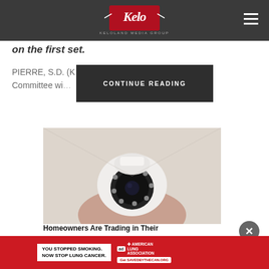[Figure (logo): Keloland Media Group logo on dark grey header bar with hamburger menu icon]
on the first set.
PIERRE, S.D. (K… Rules Review Committee wi… the state
[Figure (other): CONTINUE READING button overlay (dark rectangle)]
[Figure (photo): Hand holding a white dome security/surveillance camera]
Homeowners Are Trading in Their
[Figure (other): Bottom advertisement banner: YOU STOPPED SMOKING. NOW STOP LUNG CANCER. American Lung Association ad with Get SAVEDBYTHECAN.ORG]